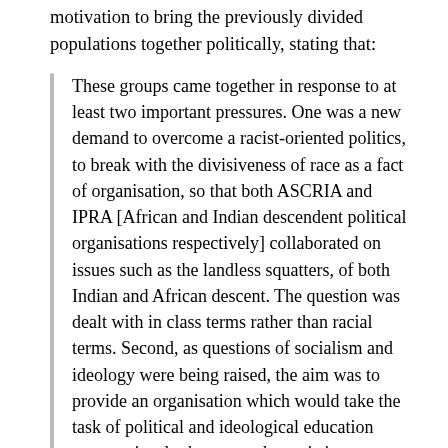motivation to bring the previously divided populations together politically, stating that:
These groups came together in response to at least two important pressures. One was a new demand to overcome a racist-oriented politics, to break with the divisiveness of race as a fact of organisation, so that both ASCRIA and IPRA [African and Indian descendent political organisations respectively] collaborated on issues such as the landless squatters, of both Indian and African descent. The question was dealt with in class terms rather than racial terms. Second, as questions of socialism and ideology were being raised, the aim was to provide an organisation which would take the task of political and ideological education more seriously than any other existing political group.24
However, the potential that Walter Rodney held and the example he set were too frightening for the Guyanese government at the time. On 13 June 1980 Rodney was assassinated by a bomb planted in a walkie-talkie by a